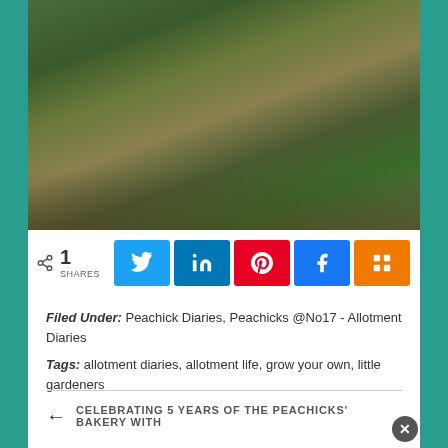[Figure (photo): Outdoor garden/allotment scene showing bare earth, dried grass, twigs and debris on a sloped plot with some green growth visible at edges]
1 SHARES
[Figure (infographic): Social share buttons: Twitter (blue), LinkedIn (dark blue), Pinterest (red), Facebook (blue), Mix (orange)]
Filed Under: Peachick Diaries, Peachicks @No17 - Allotment Diaries
Tags: allotment diaries, allotment life, grow your own, little gardeners
← CELEBRATING 5 YEARS OF THE PEACHICKS' BAKERY WITH